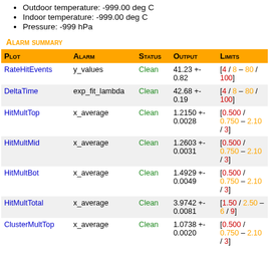Readout at -1.000e-01s (0011200001.000 s before the start of the run)
Outdoor temperature: -999.00 deg C
Indoor temperature: -999.00 deg C
Pressure: -999 hPa
Alarm summary
| Plot | Alarm | Status | Output | Limits |
| --- | --- | --- | --- | --- |
| RateHitEvents | y_values | Clean | 41.23 +- 0.82 | [4 / 8 – 80 / 100] |
| DeltaTime | exp_fit_lambda | Clean | 42.68 +- 0.19 | [4 / 8 – 80 / 100] |
| HitMultTop | x_average | Clean | 1.2150 +- 0.0028 | [0.500 / 0.750 – 2.10 / 3] |
| HitMultMid | x_average | Clean | 1.2603 +- 0.0031 | [0.500 / 0.750 – 2.10 / 3] |
| HitMultBot | x_average | Clean | 1.4929 +- 0.0049 | [0.500 / 0.750 – 2.10 / 3] |
| HitMultTotal | x_average | Clean | 3.9742 +- 0.0081 | [1.50 / 2.50 – 6 / 9] |
| ClusterMultTop | x_average | Clean | 1.0738 +- 0.0020 | [0.500 / 0.750 – 2.10 / 3] |